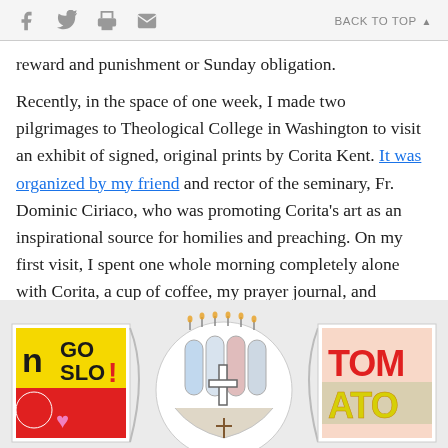f  [twitter]  [print]  [mail]  BACK TO TOP ▲
reward and punishment or Sunday obligation.
Recently, in the space of one week, I made two pilgrimages to Theological College in Washington to visit an exhibit of signed, original prints by Corita Kent. It was organized by my friend and rector of the seminary, Fr. Dominic Ciriaco, who was promoting Corita's art as an inspirational source for homilies and preaching. On my first visit, I spent one whole morning completely alone with Corita, a cup of coffee, my prayer journal, and sketchbook. Pure heaven!
[Figure (illustration): Three illustrated images in a row: left is a colorful pop-art style print with 'GO SLO!' text and symbols on yellow/red background, center is a circular sketch of a church interior with stained glass and a cross, right is a bold graphic with 'TOMATO' text in red and yellow letters.]